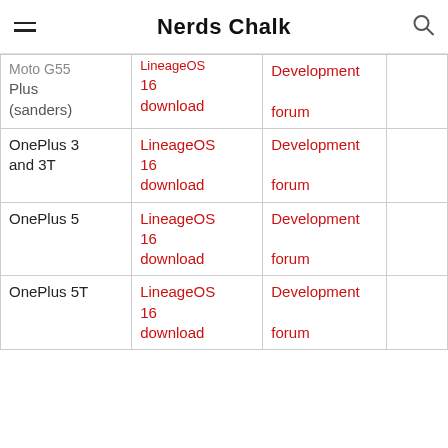Nerds Chalk
| Device | Download | Forum |  |
| --- | --- | --- | --- |
| Moto G55 Plus (sanders) | LineageOS 16 download | Development forum |  |
| OnePlus 3 and 3T | LineageOS 16 download | Development forum |  |
| OnePlus 5 | LineageOS 16 download | Development forum |  |
| OnePlus 5T | LineageOS 16 download | Development forum |  |